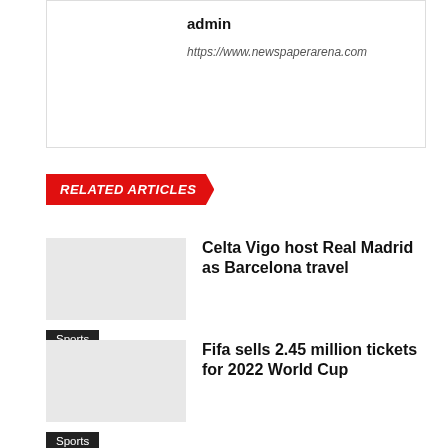admin
https://www.newspaperarena.com
RELATED ARTICLES
Celta Vigo host Real Madrid as Barcelona travel
Sports
Fifa sells 2.45 million tickets for 2022 World Cup
Sports